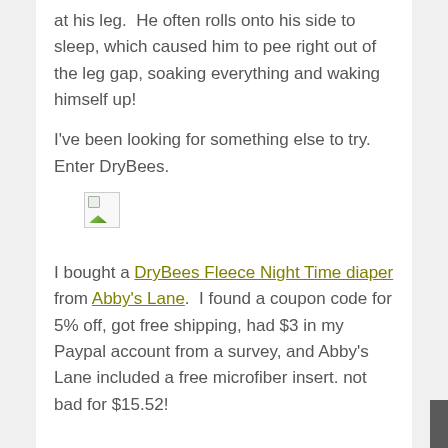at his leg.  He often rolls onto his side to sleep, which caused him to pee right out of the leg gap, soaking everything and waking himself up!
I've been looking for something else to try. Enter DryBees.
[Figure (photo): Broken/missing image placeholder icon]
I bought a DryBees Fleece Night Time diaper from Abby's Lane.  I found a coupon code for 5% off, got free shipping, had $3 in my Paypal account from a survey, and Abby's Lane included a free microfiber insert. not bad for $15.52!